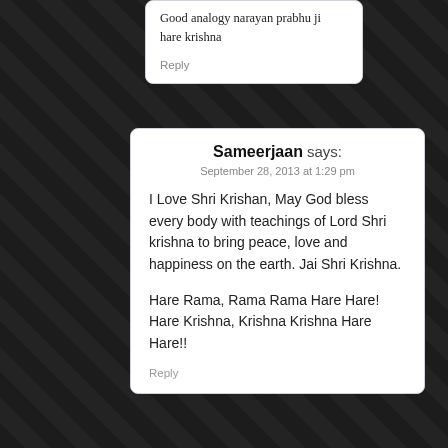Good analogy narayan prabhu ji
hare krishna
Reply
Sameerjaan says:
September 28, 2013 at 1:29 pm
I Love Shri Krishan, May God bless every body with teachings of Lord Shri krishna to bring peace, love and happiness on the earth. Jai Shri Krishna.

Hare Rama, Rama Rama Hare Hare! Hare Krishna, Krishna Krishna Hare Hare!!
Reply